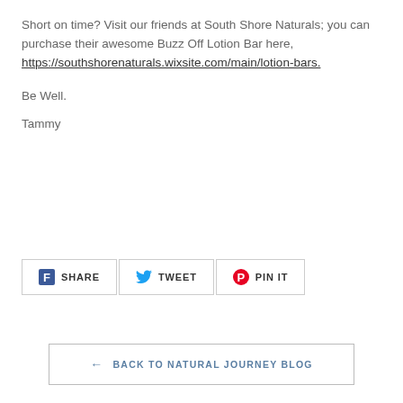Short on time? Visit our friends at South Shore Naturals; you can purchase their awesome Buzz Off Lotion Bar here, https://southshorenaturals.wixsite.com/main/lotion-bars.
Be Well.
Tammy
[Figure (other): Social share buttons: SHARE (Facebook), TWEET (Twitter), PIN IT (Pinterest)]
← BACK TO NATURAL JOURNEY BLOG